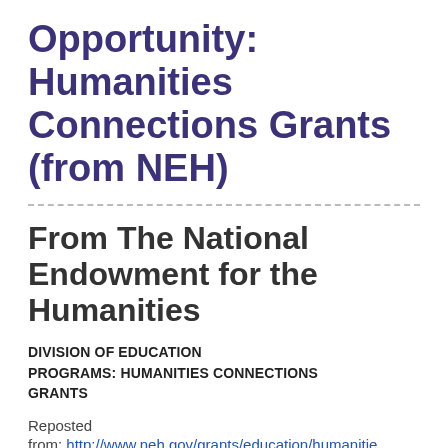Opportunity: Humanities Connections Grants (from NEH)
From The National Endowment for the Humanities
DIVISION OF EDUCATION PROGRAMS: HUMANITIES CONNECTIONS GRANTS
Reposted
from: http://www.neh.gov/grants/education/humanitie